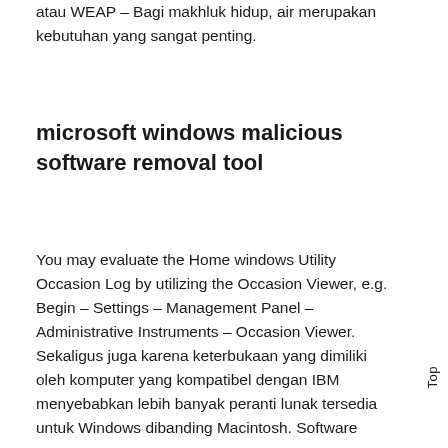atau WEAP – Bagi makhluk hidup, air merupakan kebutuhan yang sangat penting.
microsoft windows malicious software removal tool
You may evaluate the Home windows Utility Occasion Log by utilizing the Occasion Viewer, e.g. Begin – Settings – Management Panel – Administrative Instruments – Occasion Viewer. Sekaligus juga karena keterbukaan yang dimiliki oleh komputer yang kompatibel dengan IBM menyebabkan lebih banyak peranti lunak tersedia untuk Windows dibanding Macintosh. Software